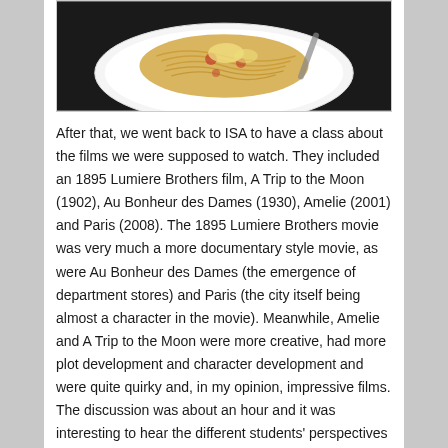[Figure (photo): A plate of pasta (spaghetti or noodles) with sauce, served on a white plate, photographed from above on a dark background.]
After that, we went back to ISA to have a class about the films we were supposed to watch. They included an 1895 Lumiere Brothers film, A Trip to the Moon (1902), Au Bonheur des Dames (1930), Amelie (2001) and Paris (2008). The 1895 Lumiere Brothers movie was very much a more documentary style movie, as were Au Bonheur des Dames (the emergence of department stores) and Paris (the city itself being almost a character in the movie). Meanwhile, Amelie and A Trip to the Moon were more creative, had more plot development and character development and were quite quirky and, in my opinion, impressive films. The discussion was about an hour and it was interesting to hear the different students' perspectives on the different films we watched and to also hear Professor Salmon's input on the films as well. After the discussion at ISA, I returned back to my homestay but first went to the grocery store. I went to a “bio” grocery store